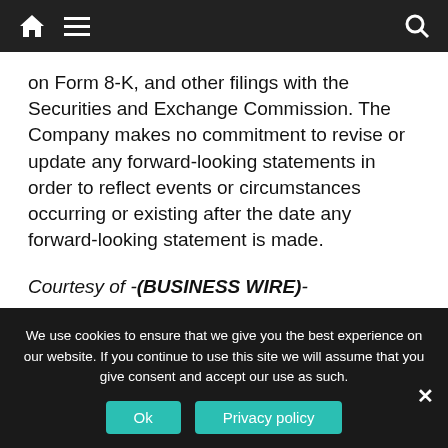Navigation bar with home, menu, and search icons
on Form 8-K, and other filings with the Securities and Exchange Commission. The Company makes no commitment to revise or update any forward-looking statements in order to reflect events or circumstances occurring or existing after the date any forward-looking statement is made.
Courtesy of -(BUSINESS WIRE)-
← 2021 Could See Record Retail Sales Growth
We use cookies to ensure that we give you the best experience on our website. If you continue to use this site we will assume that you give consent and accept our use as such.